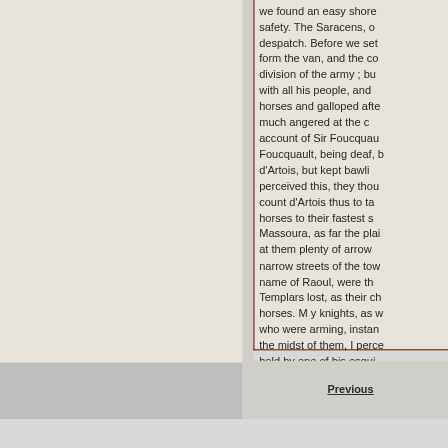we found an easy shore safety. The Saracens, o despatch. Before we set form the van, and the co division of the army ; bu with all his people, and horses and galloped afte much angered at the c account of Sir Foucquau Foucquault, being deaf, b d'Artois, but kept bawli perceived this, they thou count d'Artois thus to ta horses to their fastest s Massoura, as far the plai at them plenty of arrow narrow streets of the tow name of Raoul, were th Templars lost, as their ch horses. M y knights, as w who were arming, instan the midst of them, I perce held by one of his esqui Oriental Chronicle says, t the king, fourteen hundre
Previous